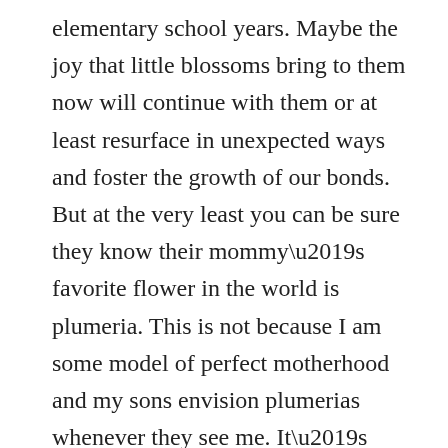elementary school years. Maybe the joy that little blossoms bring to them now will continue with them or at least resurface in unexpected ways and foster the growth of our bonds. But at the very least you can be sure they know their mommy's favorite flower in the world is plumeria. This is not because I am some model of perfect motherhood and my sons envision plumerias whenever they see me. It's simply because the couple of times we have all been to Hawaii together I am constantly huffing the blossoms exclaiming, “this is my favorite flower in the world!” And also because I reminded them a few minutes ago…just to be sure. I also asked them how they would find me if they couldn’t see